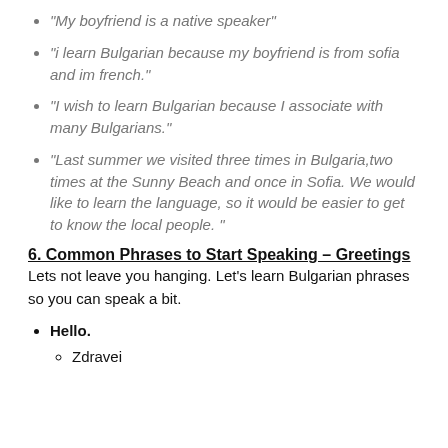“My boyfriend is a native speaker”
“i learn Bulgarian because my boyfriend is from sofia and im french.”
“I wish to learn Bulgarian because I associate with many Bulgarians.”
“Last summer we visited three times in Bulgaria,two times at the Sunny Beach and once in Sofia. We would like to learn the language, so it would be easier to get to know the local people. ”
6. Common Phrases to Start Speaking – Greetings
Lets not leave you hanging. Let’s learn Bulgarian phrases so you can speak a bit.
Hello.
Zdravei